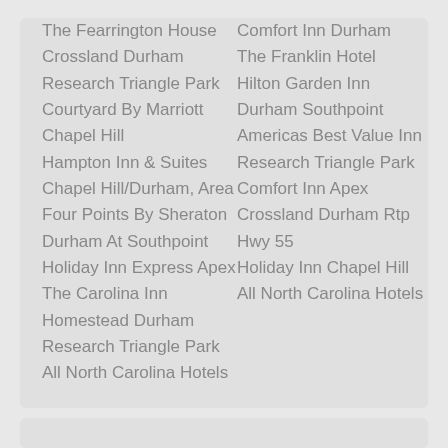The Fearrington House
Crossland Durham
Research Triangle Park
Courtyard By Marriott
Chapel Hill
Hampton Inn & Suites
Chapel Hill/Durham, Area
Four Points By Sheraton
Durham At Southpoint
Holiday Inn Express Apex
The Carolina Inn
Homestead Durham
Research Triangle Park
All North Carolina Hotels
Comfort Inn Durham
The Franklin Hotel
Hilton Garden Inn
Durham Southpoint
Americas Best Value Inn
Research Triangle Park
Comfort Inn Apex
Crossland Durham Rtp
Hwy 55
Holiday Inn Chapel Hill
All North Carolina Hotels